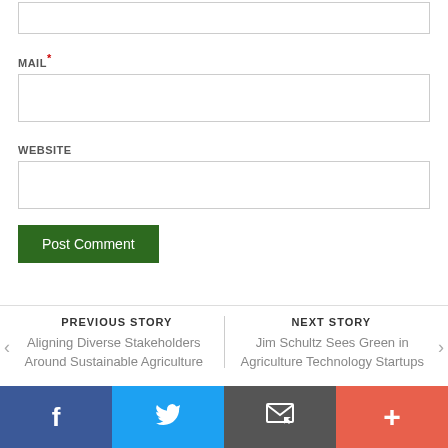MAIL*
WEBSITE
Post Comment
PREVIOUS STORY
Aligning Diverse Stakeholders Around Sustainable Agriculture
NEXT STORY
Jim Schultz Sees Green in Agriculture Technology Startups
[Figure (other): Social share bar with Facebook, Twitter, Email, and Plus buttons]